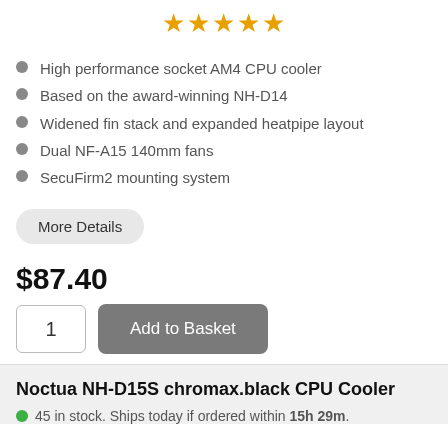[Figure (other): Five orange stars rating display]
High performance socket AM4 CPU cooler
Based on the award-winning NH-D14
Widened fin stack and expanded heatpipe layout
Dual NF-A15 140mm fans
SecuFirm2 mounting system
More Details
$87.40
1
Add to Basket
Noctua NH-D15S chromax.black CPU Cooler
45 in stock. Ships today if ordered within 15h 29m.